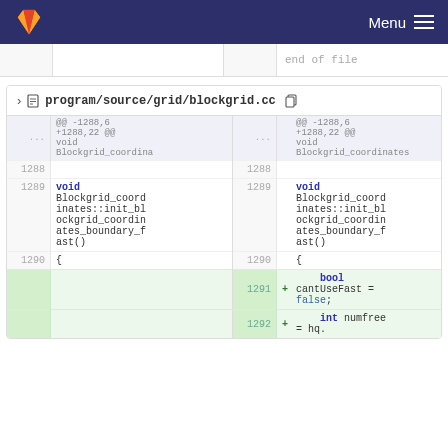Menu
end of file
program/source/grid/blockgrid.cc
| line | code (left) | line | + | code (right) |
| --- | --- | --- | --- | --- |
| ... | @@ -1288,6 +1288,22 @@ void Blockgrid_coordina | ... |  | @@ -1288,6 +1288,22 @@ void Blockgrid_coordinates |
| 1288 |  | 1288 |  |  |
| 1289 | void Blockgrid_coordinates::init_blockgrid_coordinates_boundary_fast() | 1289 |  | void Blockgrid_coordinates::init_blockgrid_coordinates_boundary_fast() |
| 1290 | { | 1290 |  | { |
|  |  | 1291 | + |     bool cantUseFast = false; |
|  |  | 1292 | + |     int numfree = hq. |